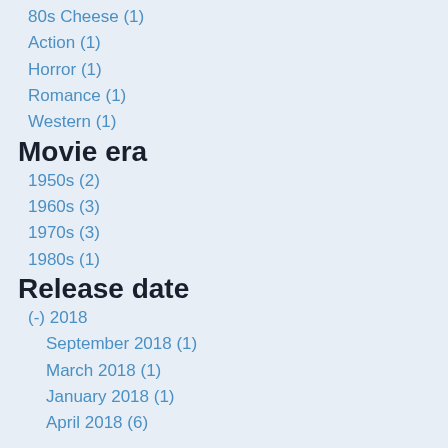80s Cheese (1)
Action (1)
Horror (1)
Romance (1)
Western (1)
Movie era
1950s (2)
1960s (3)
1970s (3)
1980s (1)
Release date
(-) 2018
September 2018 (1)
March 2018 (1)
January 2018 (1)
April 2018 (6)